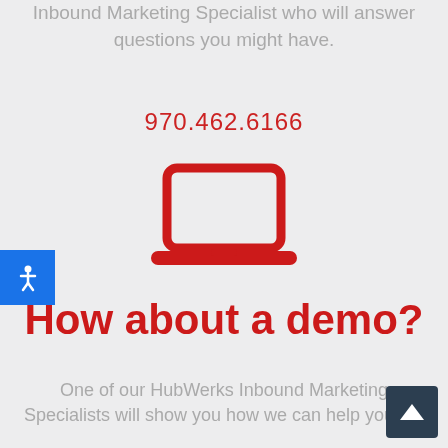Inbound Marketing Specialist who will answer questions you might have.
970.462.6166
[Figure (illustration): Red laptop computer icon]
How about a demo?
One of our HubWerks Inbound Marketing Specialists will show you how we can help you get